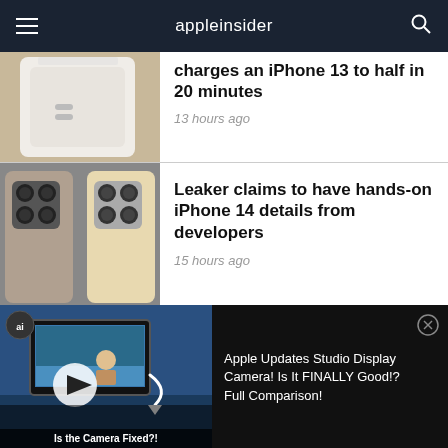appleinsider
charges an iPhone 13 to half in 20 minutes
13 hours ago
Leaker claims to have hands-on iPhone 14 details from developers
15 hours ago
Paid Apple Podcast subscriptions grow by 300%
[Figure (screenshot): Video ad overlay showing Apple Studio Display Camera comparison video with play button, AI logo icon, close button, and caption 'Is the Camera Fixed?!' Text reads: Apple Updates Studio Display Camera! Is It FINALLY Good!? Full Comparison!]